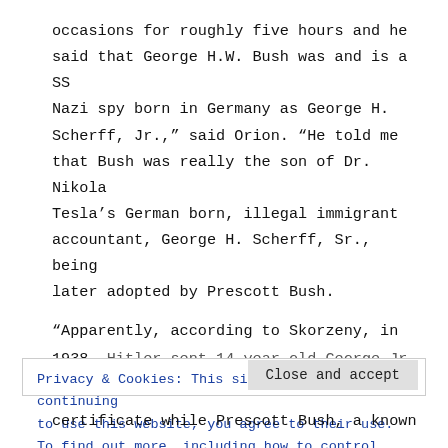occasions for roughly five hours and he said that George H.W. Bush was and is a SS Nazi spy born in Germany as George H. Scherff, Jr.,” said Orion. “He told me that Bush was really the son of Dr. Nikola Tesla’s German born, illegal immigrant accountant, George H. Scherff, Sr., being later adopted by Prescott Bush.
“Apparently, according to Skorzeny, in 1938, Hitler sent 14-year-old George Jr.
Privacy & Cookies: This site uses cookies. By continuing to use this website, you agree to their use. To find out more, including how to control cookies, see here: Unsere Cookie-Richtlinie
Close and accept
certificate while Prescott Bush, a known